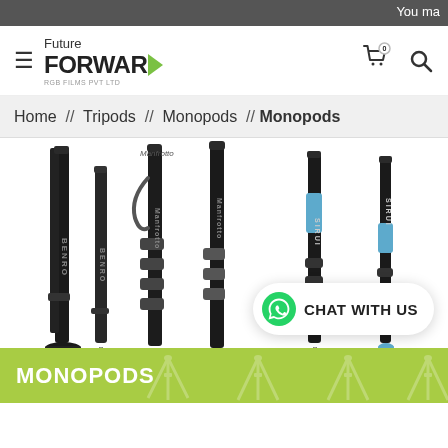You ma
[Figure (logo): Future Forward RGB Films Pvt Ltd logo with green arrow]
Home // Tripods // Monopods // Monopods
[Figure (photo): Multiple monopods/camera poles displayed vertically including Benro and Manfrotto brands with tripod bases]
CHAT WITH US
MONOPODS